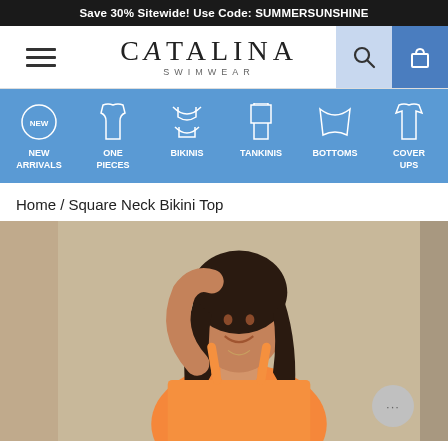Save 30% Sitewide! Use Code: SUMMERSUNSHINE
[Figure (logo): Catalina Swimwear logo with hamburger menu, search icon, and cart icon]
[Figure (infographic): Navigation category bar with icons: NEW ARRIVALS, ONE PIECES, BIKINIS, TANKINIS, BOTTOMS, COVER UPS on blue background]
Home / Square Neck Bikini Top
[Figure (photo): Woman wearing orange/peach square neck bikini top, smiling, hand raised to hair, on beige background]